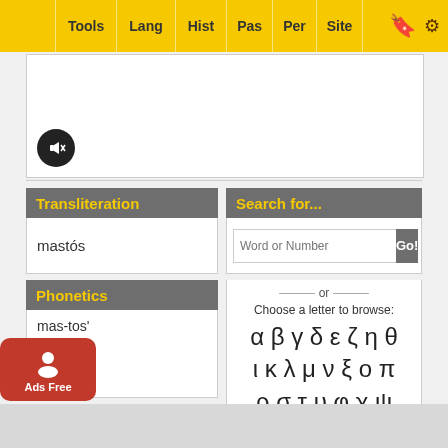Tools | Lang | Hist | Pas | Per | Site
[Figure (screenshot): White content panel with mute/audio button (dark circle with speaker-off icon) at bottom left]
Transliteration
mastós
Search for...
Word or Number [search input] Go!
Phonetics
mas-tos'
— or — Choose a letter to browse:
α β γ δ ε ζ η θ ι κ λ μ ν ξ ο π ρ σ τ υ φ χ ψ
Origin
from